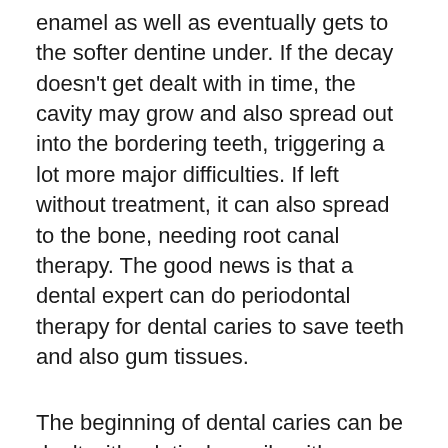enamel as well as eventually gets to the softer dentine under. If the decay doesn't get dealt with in time, the cavity may grow and also spread out into the bordering teeth, triggering a lot more major difficulties. If left without treatment, it can also spread to the bone, needing root canal therapy. The good news is that a dental expert can do periodontal therapy for dental caries to save teeth and also gum tissues.
The beginning of dental caries can be dealt with relatively easily with a fluoride treatment. Fluoride can help strengthen teeth versus acids, as well as it is very important to clean and also floss daily. If the tooth is significantly damaged, the dental professional will certainly get rid of the pulp